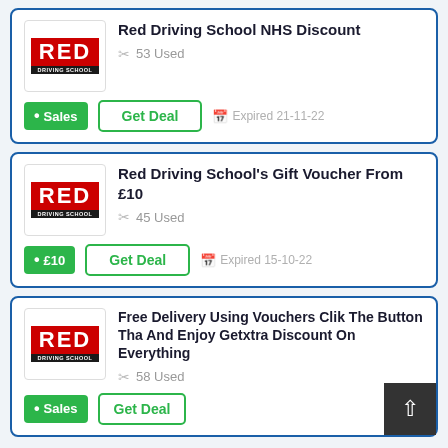[Figure (logo): Red Driving School logo card 1]
Red Driving School NHS Discount
53 Used
Sales • Get Deal  Expired 21-11-22
[Figure (logo): Red Driving School logo card 2]
Red Driving School's Gift Voucher From £10
45 Used
£10 • Get Deal  Expired 15-10-22
[Figure (logo): Red Driving School logo card 3]
Free Delivery Using Vouchers Click The Button That And Enjoy Get Extra Discount On Everything
58 Used
Sales • Get Deal  Expired 17-11-22